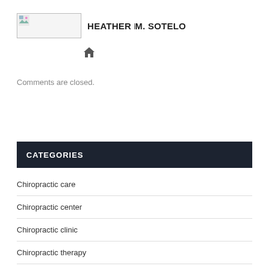HEATHER M. SOTELO
[Figure (logo): Small image/logo placeholder with a broken image icon]
[Figure (other): Home icon (house symbol)]
Comments are closed.
CATEGORIES
Chiropractic care
Chiropractic center
Chiropractic clinic
Chiropractic therapy
Chiropractic treatment